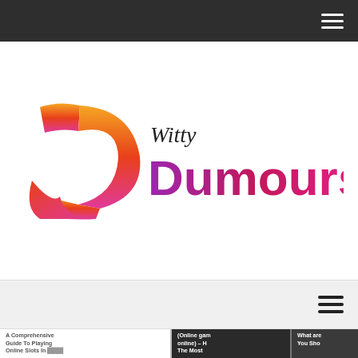Navigation bar with hamburger menu
[Figure (logo): Witty Dumours logo — stylized letter D in red-orange-yellow gradient with a pink-purple sweep, with 'Witty' in italic black text and 'Dumours' in gradient purple-to-pink large letters]
Secondary navigation bar with hamburger menu
A Comprehensive Guide To Playing Online Slots In [text]
(Online gam online) – H The Most
What are You Sho